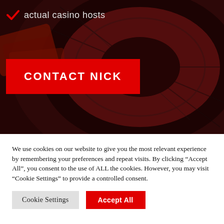actual casino hosts
[Figure (photo): Dark roulette wheel background image with red and black sections visible, overlaid with dark semi-transparent tint]
CONTACT NICK
We use cookies on our website to give you the most relevant experience by remembering your preferences and repeat visits. By clicking “Accept All”, you consent to the use of ALL the cookies. However, you may visit "Cookie Settings" to provide a controlled consent.
Cookie Settings
Accept All